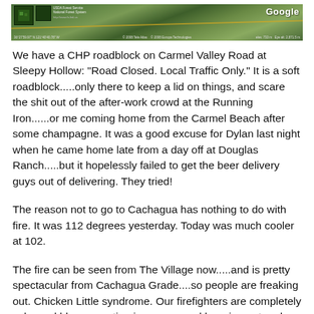[Figure (screenshot): Aerial satellite map image showing terrain, with Google logo in top right corner and coordinate information along bottom edge. Green/brown terrain visible with road markings.]
We have a CHP roadblock on Carmel Valley Road at Sleepy Hollow: "Road Closed. Local Traffic Only." It is a soft roadblock.....only there to keep a lid on things, and scare the shit out of the after-work crowd at the Running Iron......or me coming home from the Carmel Beach after some champagne. It was a good excuse for Dylan last night when he came home late from a day off at Douglas Ranch.....but it hopelessly failed to get the beer delivery guys out of delivering. They tried!
The reason not to go to Cachagua has nothing to do with fire. It was 112 degrees yesterday. Today was much cooler at 102.
The fire can be seen from The Village now.....and is pretty spectacular from Cachagua Grade....so people are freaking out. Chicken Little syndrome. Our firefighters are completely calm and blase.....eating ice cream and hanging out under the mister at The Store on their break. There is still